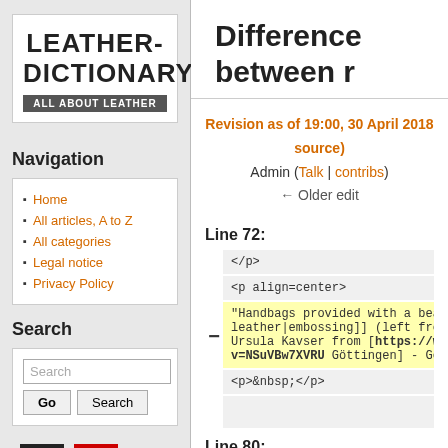Difference between r
Revision as of 19:00, 30 April 2018 (view source)
Admin (Talk | contribs)
← Older edit
Line 72:
</p>
<p align=center>
"Handbags provided with a beautiful [[Emb... leather|embossing]] (left from the collection... Ursula Kavser from [https://www.youtube.c... v=NSuVBw7XVRU Göttingen] - Germany)"
<p>&nbsp;</p>
Line 80:
Navigation
Home
All articles, A to Z
All categories
Legal notice
Privacy Policy
Search